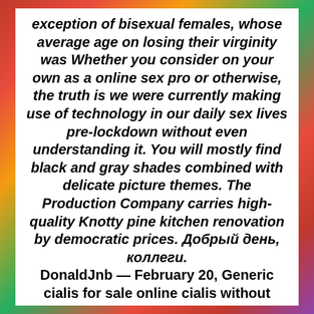exception of bisexual females, whose average age on losing their virginity was Whether you consider on your own as a online sex pro or otherwise, the truth is we were currently making use of technology in our daily sex lives pre-lockdown without even understanding it. You will mostly find black and gray shades combined with delicate picture themes. The Production Company carries high-quality Knotty pine kitchen renovation by democratic prices. Добрый день, коллеги. DonaldJnb — February 20, Generic cialis for sale online cialis without prescriptions cialis reviews. Basically: